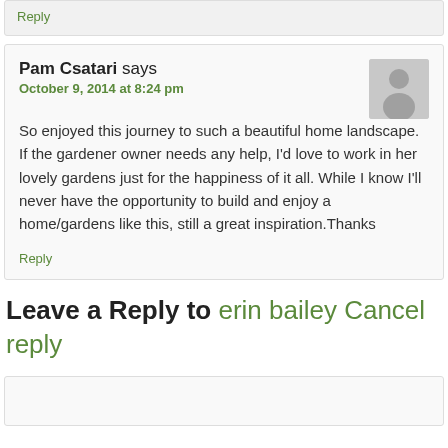Reply
Pam Csatari says
October 9, 2014 at 8:24 pm
So enjoyed this journey to such a beautiful home landscape. If the gardener owner needs any help, I'd love to work in her lovely gardens just for the happiness of it all. While I know I'll never have the opportunity to build and enjoy a home/gardens like this, still a great inspiration.Thanks
Reply
Leave a Reply to erin bailey Cancel reply